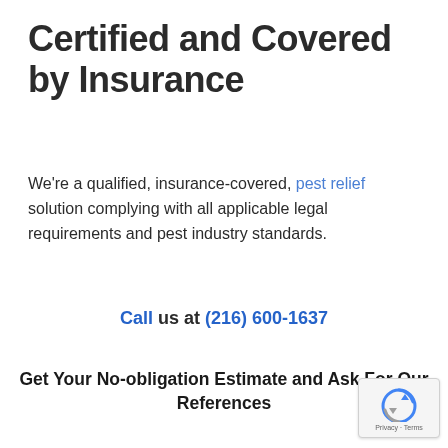Certified and Covered by Insurance
We're a qualified, insurance-covered, pest relief solution complying with all applicable legal requirements and pest industry standards.
Call us at (216) 600-1637
Get Your No-obligation Estimate and Ask For Our References
[Figure (logo): reCAPTCHA badge with Privacy and Terms text]